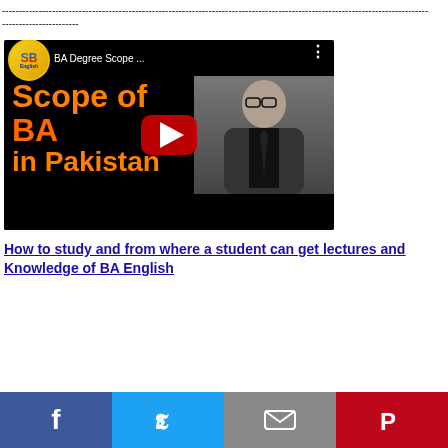--------------------------------------------------------------------------------------------------------------------------------------
[Figure (screenshot): YouTube video thumbnail showing 'BA Degree Scope...' with text 'Scope of BA in Pakistan' in orange on black background, a man in suit on the right, YouTube play button overlay, and SB English logo in top left.]
How to study and from where a student can get lectures and Knowledge of BA English